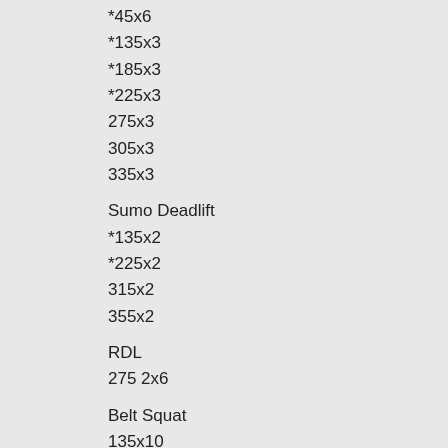*45x6
*135x3
*185x3
*225x3
275x3
305x3
335x3
Sumo Deadlift
*135x2
*225x2
315x2
355x2
RDL
275 2x6
Belt Squat
135x10
185x10
225x10
Seated Leg Curl
70x10
90x10
Standing Calf Press
180x15,12,10,8